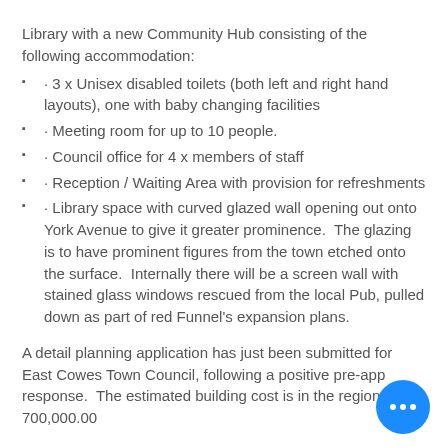Library with a new Community Hub consisting of the following accommodation:
· 3 x Unisex disabled toilets (both left and right hand layouts), one with baby changing facilities
· Meeting room for up to 10 people.
· Council office for 4 x members of staff
· Reception / Waiting Area with provision for refreshments
· Library space with curved glazed wall opening out onto York Avenue to give it greater prominence.  The glazing is to have prominent figures from the town etched onto the surface.  Internally there will be a screen wall with stained glass windows rescued from the local Pub, pulled down as part of red Funnel's expansion plans.
A detail planning application has just been submitted for East Cowes Town Council, following a positive pre-app response.  The estimated building cost is in the region of 700,000.00